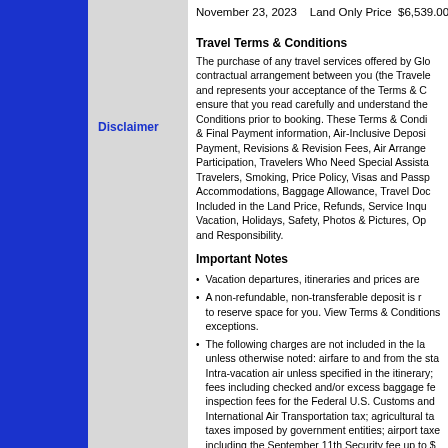November 23, 2023    Land Only Price  $6,539.00
Disclaimer
Travel Terms & Conditions
The purchase of any travel services offered by Glo... contractual arrangement between you (the Travele... and represents your acceptance of the Terms & C... ensure that you read carefully and understand the... Conditions prior to booking. These Terms & Condi... & Final Payment information, Air-Inclusive Deposi... Payment, Revisions & Revision Fees, Air Arrange... Participation, Travelers Who Need Special Assista... Travelers, Smoking, Price Policy, Visas and Passp... Accommodations, Baggage Allowance, Travel Doc... Included in the Land Price, Refunds, Service Inqu... Vacation, Holidays, Safety, Photos & Pictures, Op... and Responsibility.
Important Notes
Vacation departures, itineraries and prices are...
A non-refundable, non-transferable deposit is r... to reserve space for you. View Terms & Conditions... exceptions.
The following charges are not included in the la... unless otherwise noted: airfare to and from the sta... Intra-vacation air unless specified in the itinerary;... fees including checked and/or excess baggage fe... inspection fees for the Federal U.S. Customs and... International Air Transportation tax; agricultural ta... taxes imposed by government entities; airport taxe... including the September 11th Security fee up to $... passenger facility charges up to $18 per person, R... flight segment fees up to $4.00 per segment, and...